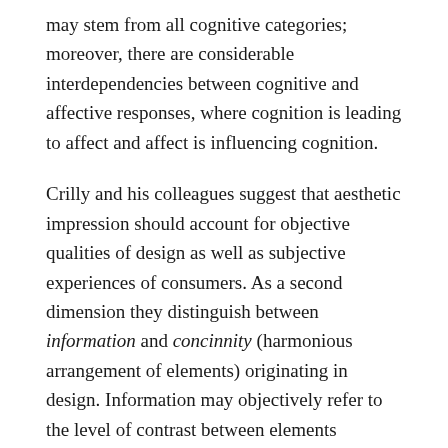may stem from all cognitive categories; moreover, there are considerable interdependencies between cognitive and affective responses, where cognition is leading to affect and affect is influencing cognition.
Crilly and his colleagues suggest that aesthetic impression should account for objective qualities of design as well as subjective experiences of consumers. As a second dimension they distinguish between information and concinnity (harmonious arrangement of elements) originating in design. Information may objectively refer to the level of contrast between elements comprising the product's design against its surroundings or among the elements themselves, while subjective information reflects